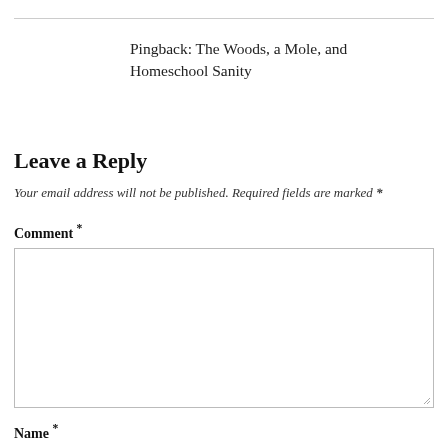Pingback: The Woods, a Mole, and Homeschool Sanity
Leave a Reply
Your email address will not be published. Required fields are marked *
Comment *
Name *